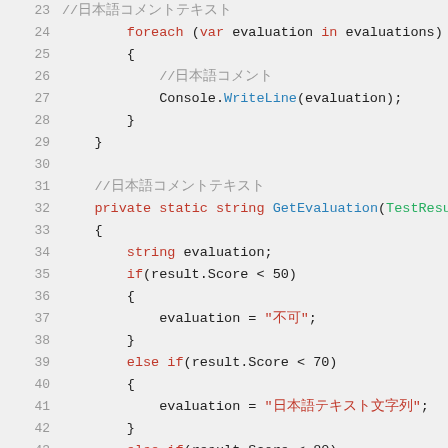Code snippet lines 23-45, C# source code showing foreach loop and GetEvaluation method with if/else if conditions